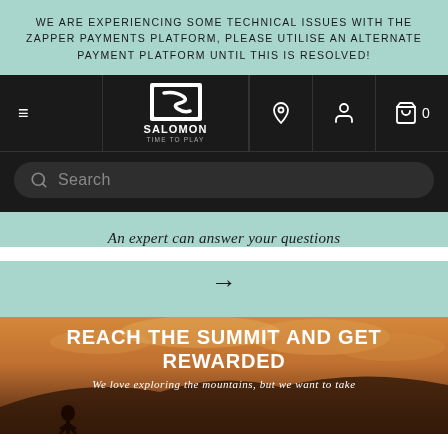WE ARE EXPERIENCING SOME TECHNICAL ISSUES WITH THE ZAPPER PAYMENTS PLATFORM, PLEASE UTILISE AN ALTERNATE PAYMENT PLATFORM UNTIL THIS IS RESOLVED!
[Figure (screenshot): Salomon navigation bar with hamburger menu, Salomon logo (TIME TO PLAY), location icon, user icon, and shopping bag icon with count 0]
[Figure (screenshot): Search bar with magnifying glass icon and placeholder text 'Search']
An expert can answer your questions
[Figure (other): Right-pointing arrow symbol]
REACH THE SUMMIT AND GET REWARDED
We love exploring the mountains, but we want to take